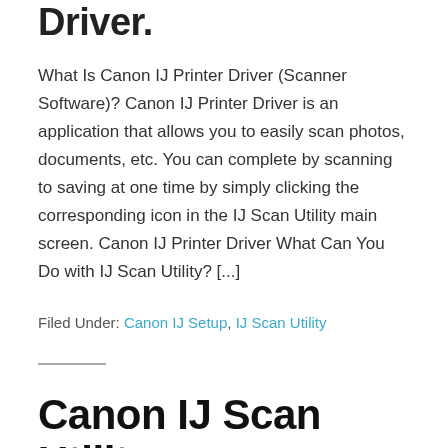Driver.
What Is Canon IJ Printer Driver (Scanner Software)? Canon IJ Printer Driver is an application that allows you to easily scan photos, documents, etc. You can complete by scanning to saving at one time by simply clicking the corresponding icon in the IJ Scan Utility main screen. Canon IJ Printer Driver What Can You Do with IJ Scan Utility? [...]
Filed Under: Canon IJ Setup, IJ Scan Utility
Canon IJ Scan Utility Windows 10